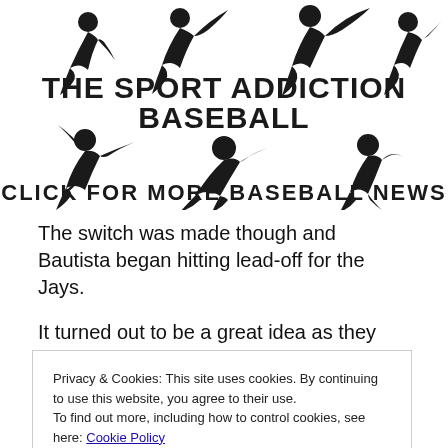[Figure (illustration): Baseball-themed banner with silhouettes of baseball players in various poses (batting, pitching, fielding) and bold text reading 'THE SPORT ADDICTION BASEBALL' and 'CLICK FOR MORE BASEBALL NEWS']
The switch was made though and Bautista began hitting lead-off for the Jays.
It turned out to be a great idea as they have played better
Privacy & Cookies: This site uses cookies. By continuing to use this website, you agree to their use.
To find out more, including how to control cookies, see here: Cookie Policy
Close and accept